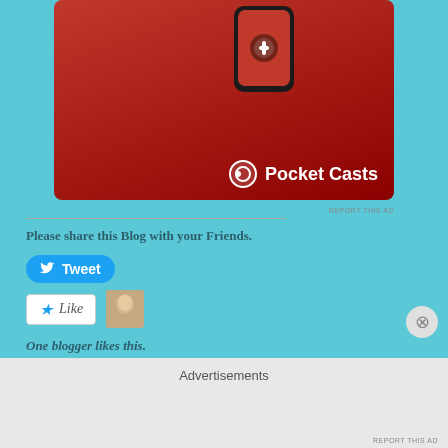[Figure (photo): Pocket Casts advertisement banner showing a red smartwatch/phone device on a red background with the Pocket Casts logo and name in white text]
REPORT THIS AD
Please share this Blog with your Friends.
[Figure (other): Twitter Tweet button - blue rounded rectangle with Twitter bird icon and 'Tweet' text in white]
[Figure (other): WordPress Like button - white rounded rectangle with blue star icon and italic 'Like' text, next to a small avatar photo of a person]
One blogger likes this.
Related
I just plain don't like it. BPD is ...
I am down … because...
Advertisements
REPORT THIS AD